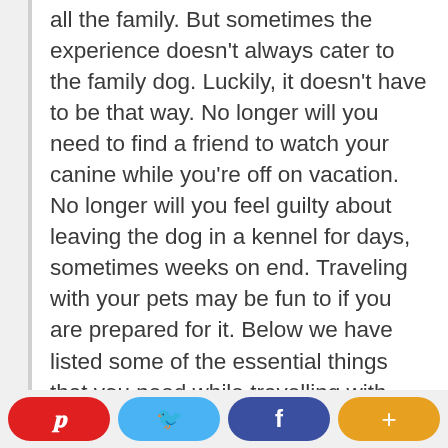all the family. But sometimes the experience doesn't always cater to the family dog. Luckily, it doesn't have to be that way. No longer will you need to find a friend to watch your canine while you're off on vacation. No longer will you feel guilty about leaving the dog in a kennel for days, sometimes weeks on end. Traveling with your pets may be fun to if you are prepared for it. Below we have listed some of the essential things that you need while travelling with your furry friend.
Pinterest | Twitter | Facebook | +